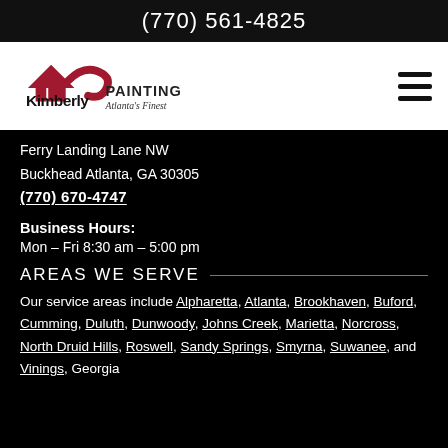(770) 561-4825
[Figure (logo): Kimberly Painting – Atlanta's Finest logo with house/roof graphic in dark red and black text]
Ferry Landing Lane NW
Buckhead Atlanta, GA 30305
(770) 670-4747
Business Hours:
Mon – Fri 8:30 am – 5:00 pm
AREAS WE SERVE
Our service areas include Alpharetta, Atlanta, Brookhaven, Buford, Cumming, Duluth, Dunwoody, Johns Creek, Marietta, Norcross, North Druid Hills, Roswell, Sandy Springs, Smyrna, Suwanee, and Vinings, Georgia